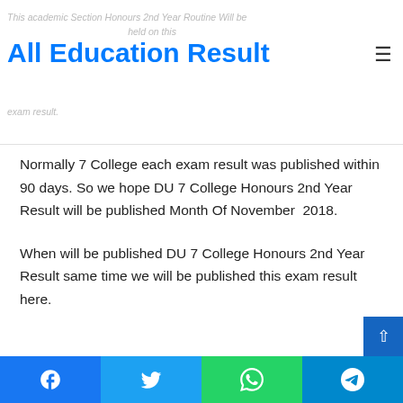All Education Result
Normally 7 College each exam result was published within 90 days. So we hope DU 7 College Honours 2nd Year Result will be published Month Of November 2018.
When will be published DU 7 College Honours 2nd Year Result same time we will be published this exam result here.
Facebook | Twitter | WhatsApp | Telegram